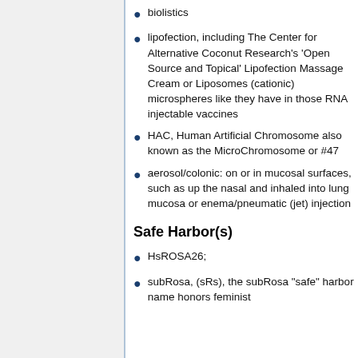biolistics
lipofection, including The Center for Alternative Coconut Research's 'Open Source and Topical' Lipofection Massage Cream or Liposomes (cationic) microspheres like they have in those RNA injectable vaccines
HAC, Human Artificial Chromosome also known as the MicroChromosome or #47
aerosol/colonic: on or in mucosal surfaces, such as up the nasal and inhaled into lung mucosa or enema/pneumatic (jet) injection
Safe Harbor(s)
HsROSA26;
subRosa, (sRs), the subRosa "safe" harbor name honors feminist